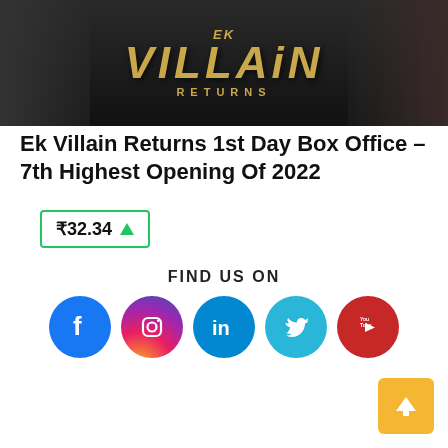[Figure (photo): Movie poster for 'Ek Villain Returns' with dark background and golden stylized title text, showing figures of actors]
Ek Villain Returns 1st Day Box Office – 7th Highest Opening Of 2022
₹32.34 ▲
FIND US ON
[Figure (infographic): Social media icons row: Facebook, Instagram, LinkedIn, Twitter, YouTube]
[Figure (other): Scroll to top button (orange/yellow square with up arrow)]